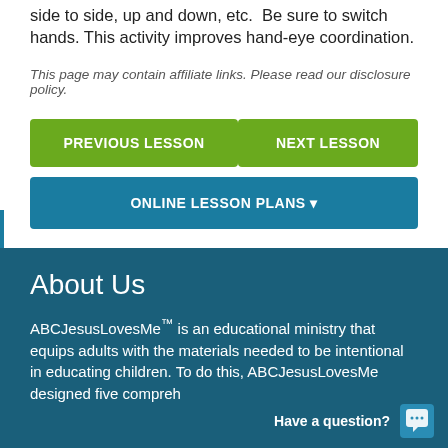side to side, up and down, etc.  Be sure to switch hands. This activity improves hand-eye coordination.
This page may contain affiliate links. Please read our disclosure policy.
PREVIOUS LESSON
NEXT LESSON
ONLINE LESSON PLANS ▼
About Us
ABCJesusLovesMe™ is an educational ministry that equips adults with the materials needed to be intentional in educating children. To do this, ABCJesusLovesMe designed five compreh
Have a question?